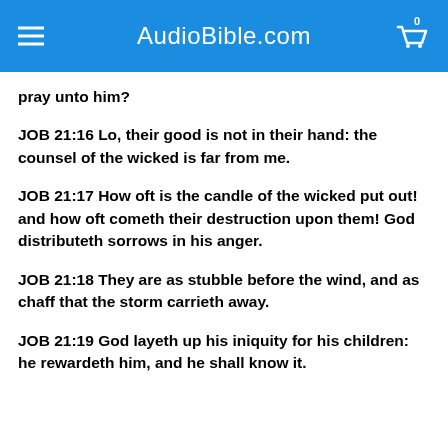AudioBible.com
pray unto him?
JOB 21:16 Lo, their good is not in their hand: the counsel of the wicked is far from me.
JOB 21:17 How oft is the candle of the wicked put out! and how oft cometh their destruction upon them! God distributeth sorrows in his anger.
JOB 21:18 They are as stubble before the wind, and as chaff that the storm carrieth away.
JOB 21:19 God layeth up his iniquity for his children: he rewardeth him, and he shall know it.